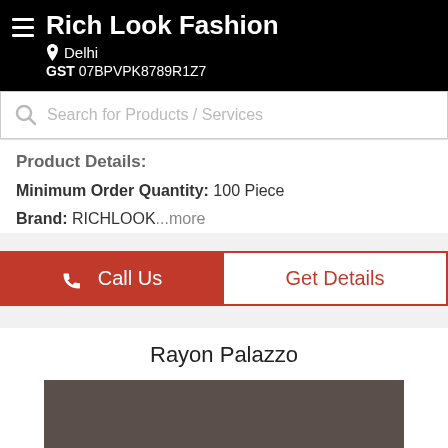Rich Look Fashion
Delhi
GST 07BPVPK8789R1Z7
Search for Products / Services
Product Details:
Minimum Order Quantity: 100 Piece
Brand: RICHLOOK...more
Call Us
Get Details
Rayon Palazzo
[Figure (photo): Product image placeholder for Rayon Palazzo - dark brownish-gray rectangle]